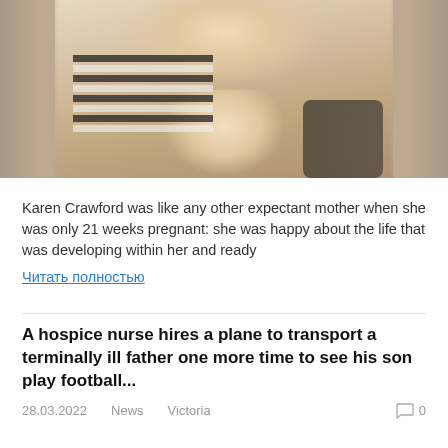[Figure (photo): Photo of a smiling woman in a black and white striped top holding a baby who is also smiling and touching their mouth. The sides of the image are blurred/bokeh.]
Karen Crawford was like any other expectant mother when she was only 21 weeks pregnant: she was happy about the life that was developing within her and ready
Читать полностью
A hospice nurse hires a plane to transport a terminally ill father one more time to see his son play football...
28.03.2022   News   Victoria   0